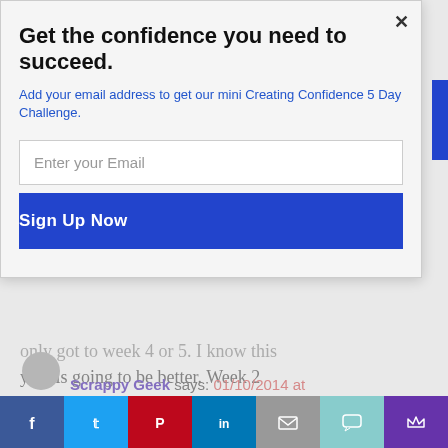Get the confidence you need to succeed.
Add your email address to get our mini Creating Confidence 5 Day Challenge.
Enter your Email
Sign Up Now
only got to week 4 or 5. I know this year is going to be better. Week 2 and already have more saved then I should.
Scrappy Geek says: 01/10/2014 at